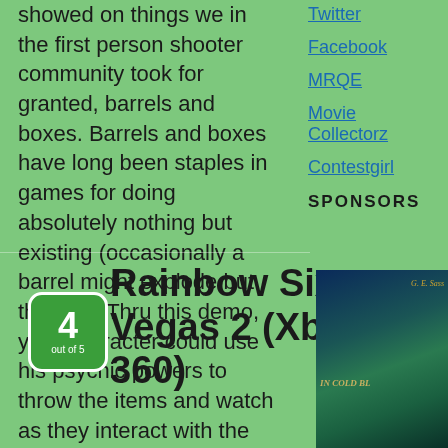showed on things we in the first person shooter community took for granted, barrels and boxes. Barrels and boxes have long been staples in games for doing absolutely nothing but existing (occasionally a barrel might explode but that's it). Thru this demo, your character could use his psychic powers to throw the items and watch as they interact with the environment.
Read More >
Twitter
Facebook
MRQE
Movie Collectorz
Contestgirl
SPONSORS
[Figure (other): Book cover image – dark teal/blue background with decorative elements]
Rainbow Six Vegas 2 (Xbox 360)